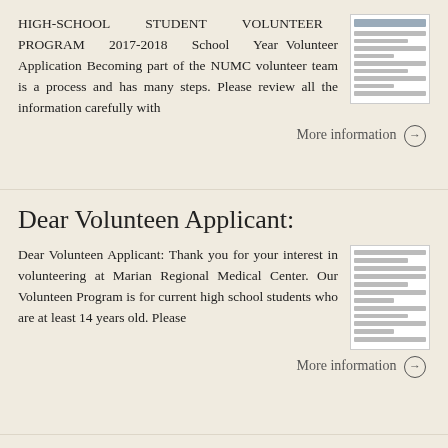HIGH-SCHOOL STUDENT VOLUNTEER PROGRAM 2017-2018 School Year Volunteer Application Becoming part of the NUMC volunteer team is a process and has many steps. Please review all the information carefully with
[Figure (screenshot): Thumbnail image of a document page with a blue header and text lines]
More information →
Dear Volunteen Applicant:
Dear Volunteen Applicant: Thank you for your interest in volunteering at Marian Regional Medical Center. Our Volunteen Program is for current high school students who are at least 14 years old. Please
[Figure (screenshot): Thumbnail image of a document with text lines]
More information →
CAMP KEOLA 4-H CAMP June 19-23, 2018
CAMPER REGISTRATION NAME AGE